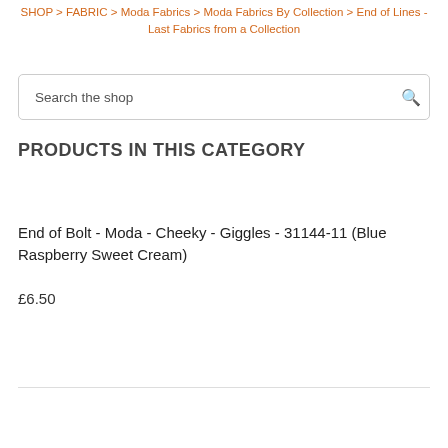SHOP > FABRIC > Moda Fabrics > Moda Fabrics By Collection > End of Lines - Last Fabrics from a Collection
Search the shop
PRODUCTS IN THIS CATEGORY
End of Bolt - Moda - Cheeky - Giggles - 31144-11 (Blue Raspberry Sweet Cream)
£6.50
Add To Basket